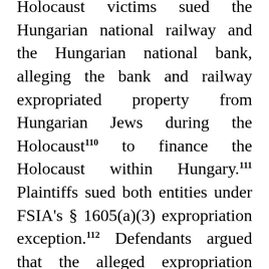Holocaust victims sued the Hungarian national railway and the Hungarian national bank, alleging the bank and railway expropriated property from Hungarian Jews during the Holocaust110 to finance the Holocaust within Hungary.111 Plaintiffs sued both entities under FSIA's § 1605(a)(3) expropriation exception.112 Defendants argued that the alleged expropriation could not be found in violation of international law because the plaintiffs did not pursue or exhaust any domestic remedies in Hungary, the foreign sovereign that had allegedly